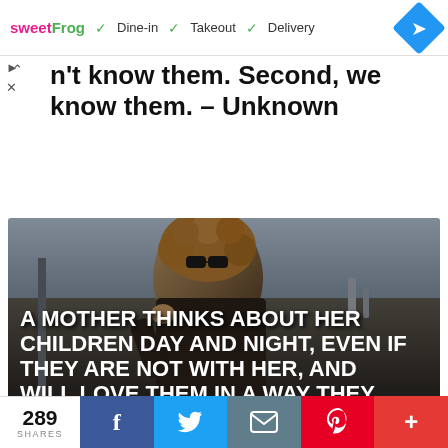[Figure (screenshot): Advertisement bar: sweetFrog logo with checkmarks for Dine-in, Takeout, Delivery; navigation diamond icon]
n't know them. Second, we know them. – Unknown
[Figure (photo): Photo of a woman with curly hair and sunglasses on a city street with overlaid white bold text: A MOTHER THINKS ABOUT HER CHILDREN DAY AND NIGHT, EVEN IF THEY ARE NOT WITH HER, AND WILL LOVE THEM IN A WAY THEY]
289 SHARES | Facebook | Twitter | Email | Pinterest | More